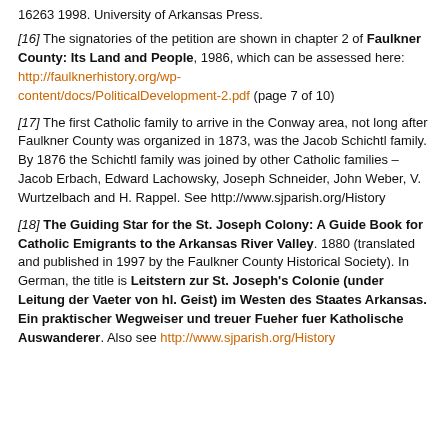16263 1998. University of Arkansas Press.
[16] The signatories of the petition are shown in chapter 2 of Faulkner County: Its Land and People, 1986, which can be assessed here: http://faulknerhistory.org/wp-content/docs/PoliticalDevelopment-2.pdf (page 7 of 10)
[17] The first Catholic family to arrive in the Conway area, not long after Faulkner County was organized in 1873, was the Jacob Schichtl family. By 1876 the Schichtl family was joined by other Catholic families – Jacob Erbach, Edward Lachowsky, Joseph Schneider, John Weber, V. Wurtzelbach and H. Rappel. See http://www.sjparish.org/History
[18] The Guiding Star for the St. Joseph Colony: A Guide Book for Catholic Emigrants to the Arkansas River Valley. 1880 (translated and published in 1997 by the Faulkner County Historical Society). In German, the title is Leitstern zur St. Joseph's Colonie (under Leitung der Vaeter von hl. Geist) im Westen des Staates Arkansas. Ein praktischer Wegweiser und treuer Fueher fuer Katholische Auswanderer. Also see http://www.sjparish.org/History